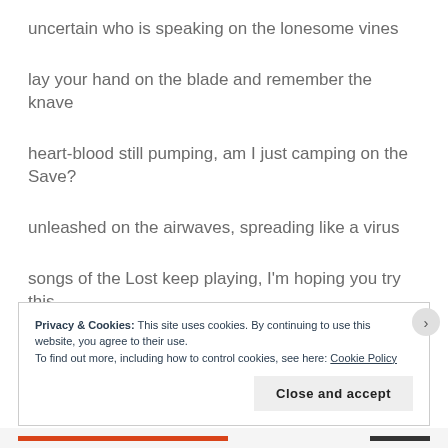uncertain who is speaking on the lonesome vines
lay your hand on the blade and remember the knave
heart-blood still pumping, am I just camping on the Save?
unleashed on the airwaves, spreading like a virus
songs of the Lost keep playing, I'm hoping you try this
Privacy & Cookies: This site uses cookies. By continuing to use this website, you agree to their use.
To find out more, including how to control cookies, see here: Cookie Policy
Close and accept